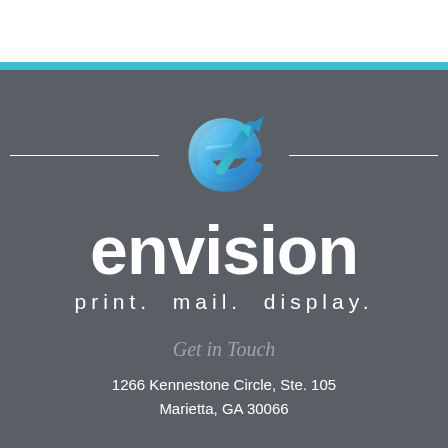[Figure (logo): Envision company logo: a stylized blue italic 'e' letterform with an upward-right arrow through it, flanked by horizontal white lines]
envision
print.  mail.  display.
Get in Touch
1266 Kennestone Circle, Ste. 105
Marietta, GA 30066